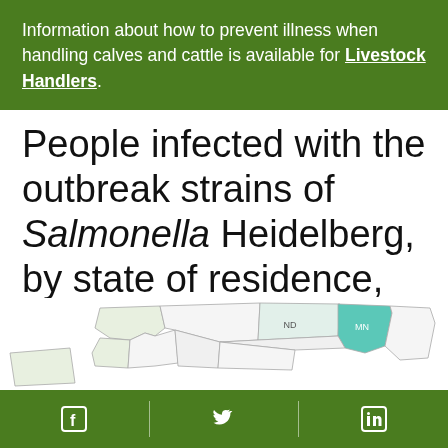Information about how to prevent illness when handling calves and cattle is available for Livestock Handlers.
People infected with the outbreak strains of Salmonella Heidelberg, by state of residence, as of February 12, 2018 (n=56)
[Figure (map): Partial view of a US map showing states colored by infection count, with Minnesota highlighted in teal/green]
Facebook | Twitter | LinkedIn